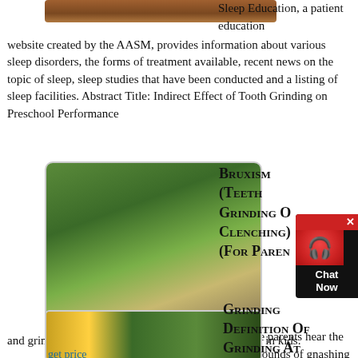[Figure (photo): Top strip image showing brown/earthy textured surface]
Sleep Education, a patient education website created by the AASM, provides information about various sleep disorders, the forms of treatment available, recent news on the topic of sleep, sleep studies that have been conducted and a listing of sleep facilities. Abstract Title: Indirect Effect of Tooth Grinding on Preschool Performance
get price
[Figure (photo): Industrial green mining/crushing machine with conveyor belt outdoors]
Bruxism (Teeth Grinding Or Clenching) (For Paren...
[Figure (screenshot): Chat Now widget button with red icon and dark background]
But some parents hear the harsher sounds of gnashing and grinding teeth, called bruxism, which is common in kids. About Bruxism. Bruxism is the medical term for the grinding of teeth or the clenching of jaws. Many kids have it (2 to 3 out of every 10 will grind their teeth, experts say), but most outgrow it.
get price
[Figure (photo): Industrial yellow and green machine, partial view]
Grinding Definition Of Grinding At Dictionary